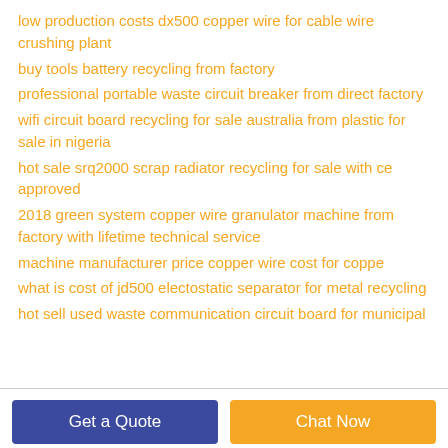low production costs dx500 copper wire for cable wire crushing plant
buy tools battery recycling from factory
professional portable waste circuit breaker from direct factory
wifi circuit board recycling for sale australia from plastic for sale in nigeria
hot sale srq2000 scrap radiator recycling for sale with ce approved
2018 green system copper wire granulator machine from factory with lifetime technical service
machine manufacturer price copper wire cost for coppe
what is cost of jd500 electostatic separator for metal recycling
hot sell used waste communication circuit board for municipal
Get a Quote
Chat Now